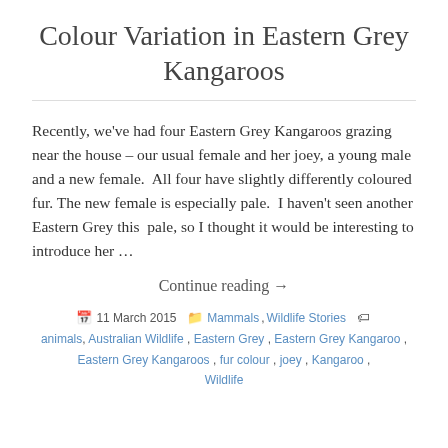Colour Variation in Eastern Grey Kangaroos
Recently, we've had four Eastern Grey Kangaroos grazing near the house – our usual female and her joey, a young male and a new female.  All four have slightly differently coloured fur. The new female is especially pale.  I haven't seen another Eastern Grey this  pale, so I thought it would be interesting to introduce her …
Continue reading →
11 March 2015  Mammals, Wildlife Stories  animals, Australian Wildlife, Eastern Grey, Eastern Grey Kangaroo, Eastern Grey Kangaroos, fur colour, joey, Kangaroo, Wildlife